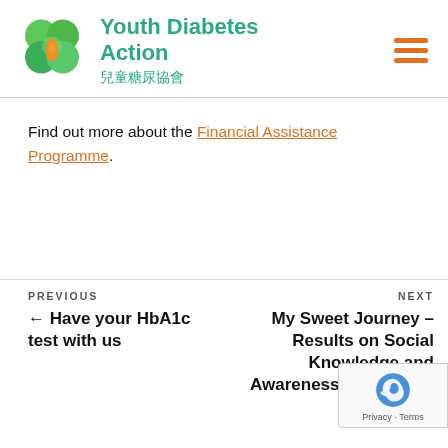[Figure (logo): Youth Diabetes Action logo with green clover shape and orange drop, alongside text 'Youth Diabetes Action' and Chinese characters '兒童糖尿協會']
Find out more about the Financial Assistance Programme.
PREVIOUS
← Have your HbA1c test with us
NEXT
My Sweet Journey – Results on Social Knowledge and Awareness of diabetes su